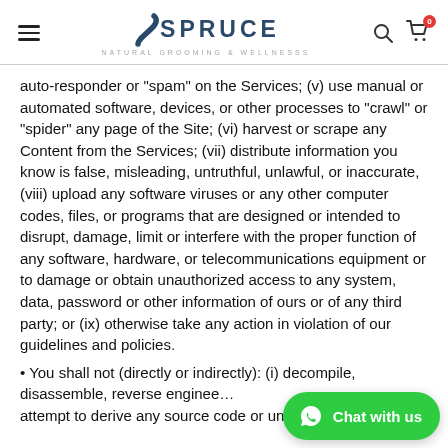SPRUCE NATURAL GROOMING & WELLNESSS
auto-responder or “spam” on the Services; (v) use manual or automated software, devices, or other processes to “crawl” or “spider” any page of the Site; (vi) harvest or scrape any Content from the Services; (vii) distribute information you know is false, misleading, untruthful, unlawful, or inaccurate, (viii) upload any software viruses or any other computer codes, files, or programs that are designed or intended to disrupt, damage, limit or interfere with the proper function of any software, hardware, or telecommunications equipment or to damage or obtain unauthorized access to any system, data, password or other information of ours or of any third party; or (ix) otherwise take any action in violation of our guidelines and policies.
• You shall not (directly or indirectly): (i) decompile, disassemble, reverse engineer, or attempt to derive any source code or underlying ideas or